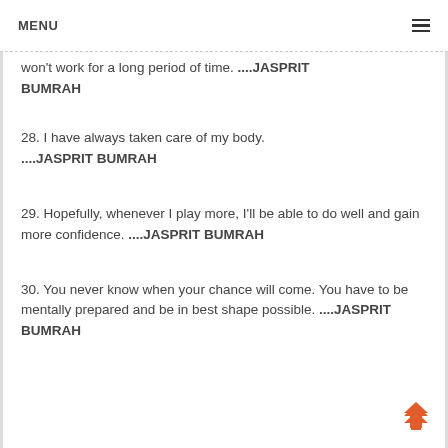MENU
won't work for a long period of time. ....JASPRIT BUMRAH
28. I have always taken care of my body. ....JASPRIT BUMRAH
29. Hopefully, whenever I play more, I'll be able to do well and gain more confidence. ....JASPRIT BUMRAH
30. You never know when your chance will come. You have to be mentally prepared and be in best shape possible. ....JASPRIT BUMRAH